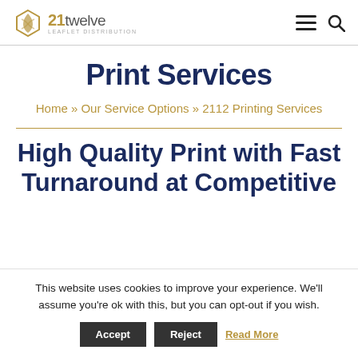21twelve Leaflet Distribution — navigation header with hamburger menu and search icon
Print Services
Home » Our Service Options » 2112 Printing Services
High Quality Print with Fast Turnaround at Competitive
This website uses cookies to improve your experience. We'll assume you're ok with this, but you can opt-out if you wish. Accept | Reject | Read More